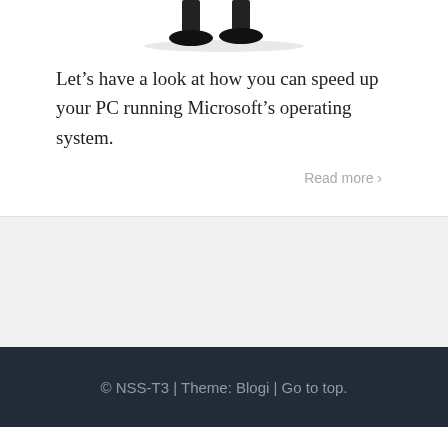[Figure (illustration): Partial view of a person's feet/legs illustration, cropped at top of page]
Let’s have a look at how you can speed up your PC running Microsoft’s operating system.
Read more ›
© NSS-T3 | Theme: Blogi | Go to top.